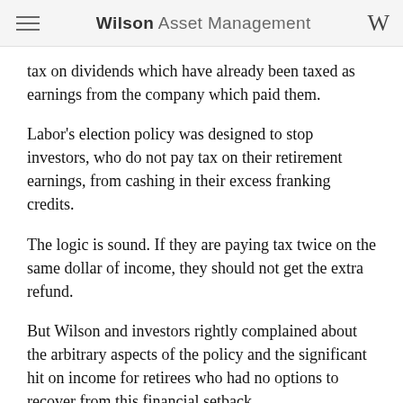Wilson Asset Management
tax on dividends which have already been taxed as earnings from the company which paid them.
Labor's election policy was designed to stop investors, who do not pay tax on their retirement earnings, from cashing in their excess franking credits.
The logic is sound. If they are paying tax twice on the same dollar of income, they should not get the extra refund.
But Wilson and investors rightly complained about the arbitrary aspects of the policy and the significant hit on income for retirees who had no options to recover from this financial setback.